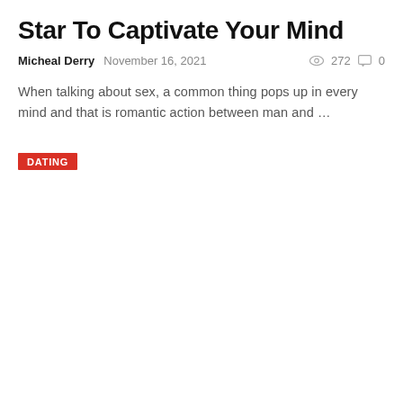Star To Captivate Your Mind
Micheal Derry   November 16, 2021   272   0
When talking about sex, a common thing pops up in every mind and that is romantic action between man and …
DATING